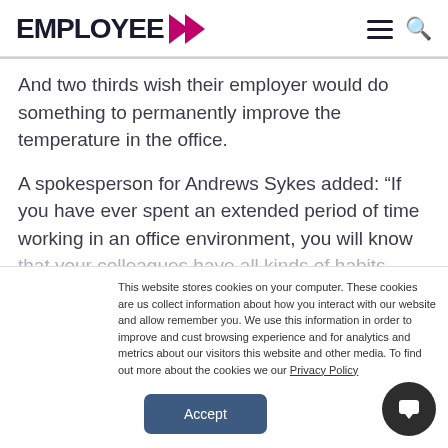EMPLOYEE >
And two thirds wish their employer would do something to permanently improve the temperature in the office.
A spokesperson for Andrews Sykes added: “If you have ever spent an extended period of time working in an office environment, you will know that your colleagues have all kinds of habits
This website stores cookies on your computer. These cookies are us collect information about how you interact with our website and allow remember you. We use this information in order to improve and cust browsing experience and for analytics and metrics about our visitors this website and other media. To find out more about the cookies we our Privacy Policy